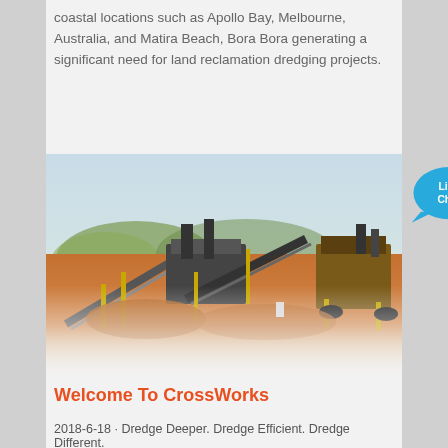coastal locations such as Apollo Bay, Melbourne, Australia, and Matira Beach, Bora Bora generating a significant need for land reclamation dredging projects.
[Figure (photo): Industrial mining or quarrying equipment including conveyor belts and processing machinery on a red-soil excavation site with hazy sky background.]
[Figure (illustration): Live Chat speech bubble icon in blue with 'Live Chat' text and a close (x) button.]
Welcome To CrossWorks
2018-6-18 · Dredge Deeper. Dredge Efficient. Dredge Different.